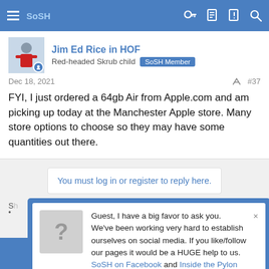SoSH [navigation bar with hamburger menu, key icon, document icon, alert icon, search icon]
Jim Ed Rice in HOF
Red-headed Skrub child  SoSH Member
Dec 18, 2021   #37
FYI, I just ordered a 64gb Air from Apple.com and am picking up today at the Manchester Apple store. Many store options to choose so they may have some quantities out there.
You must log in or register to reply here.
Guest, I have a big favor to ask you. We've been working very hard to establish ourselves on social media. If you like/follow our pages it would be a HUGE help to us. SoSH on Facebook and Inside the Pylon Thanks! Nip